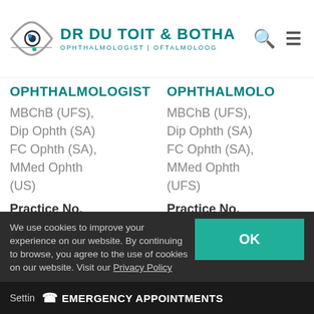[Figure (logo): Eye logo with DR DU TOIT & BOTHA ophthalmologist branding]
OPHTHALMOLOGIST
MBChB (UFS),
Dip Ophth (SA)
FC Ophth (SA),
MMed Ophth
(US)
Practice No.
0260000620599
MP 0650854
OPHTHALMOLO
MBChB (UFS),
Dip Ophth (SA)
FC Ophth (SA),
MMed Ophth
(UFS)
Practice No.
0260000799068
MP 0717770
We use cookies to improve your experience on our website. By continuing to browse, you agree to the use of cookies on our website. Visit our Privacy Policy
OK
Settin
EMERGENCY APPOINTMENTS